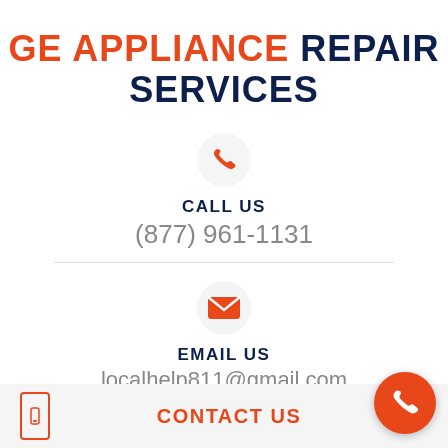GE APPLIANCE REPAIR SERVICES
[Figure (other): Orange phone/call icon inside a light gray circle]
CALL US
(877) 961-1131
[Figure (other): Orange envelope/email icon inside a light gray circle]
EMAIL US
localhelp811@gmail.com
CONTACT US